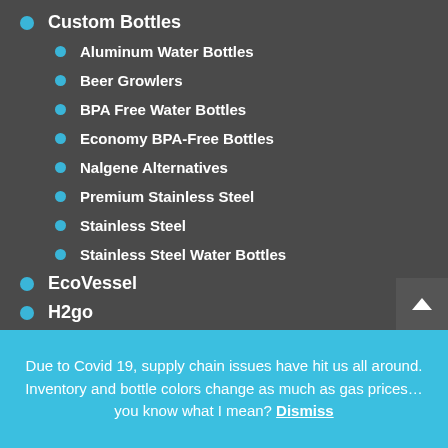Custom Bottles
Aluminum Water Bottles
Beer Growlers
BPA Free Water Bottles
Economy BPA-Free Bottles
Nalgene Alternatives
Premium Stainless Steel
Stainless Steel
Stainless Steel Water Bottles
EcoVessel
H2go
Due to Covid 19, supply chain issues have hit us all around. Inventory and bottle colors change as much as gas prices… you know what I mean? Dismiss